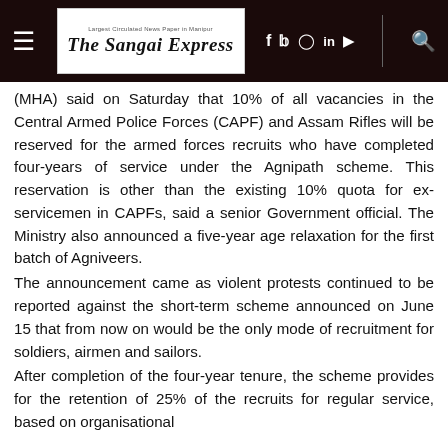The Sangai Express
(MHA) said on Saturday that 10% of all vacancies in the Central Armed Police Forces (CAPF) and Assam Rifles will be reserved for the armed forces recruits who have completed four-years of service under the Agnipath scheme. This reservation is other than the existing 10% quota for ex-servicemen in CAPFs, said a senior Government official. The Ministry also announced a five-year age relaxation for the first batch of Agniveers.
The announcement came as violent protests continued to be reported against the short-term scheme announced on June 15 that from now on would be the only mode of recruitment for soldiers, airmen and sailors.
After completion of the four-year tenure, the scheme provides for the retention of 25% of the recruits for regular service, based on organisational